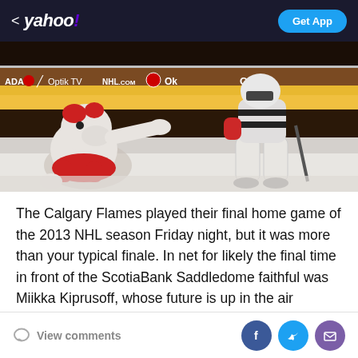< yahoo! | Get App
[Figure (photo): Photo of two hockey mascots on ice rink at the Scotiabank Saddledome. One mascot in white fur and red costume kneeling on ice, another mascot in goalie equipment standing. Arena boards visible in background with text: ADA, Optik TV, NHL.COM, Esso, Can.]
The Calgary Flames played their final home game of the 2013 NHL season Friday night, but it was more than your typical finale. In net for likely the final time in front of the ScotiaBank Saddledome faithful was Miikka Kiprusoff, whose future is up in the air despite having another year left on his contract.
View comments | Facebook share | Twitter share | Email share